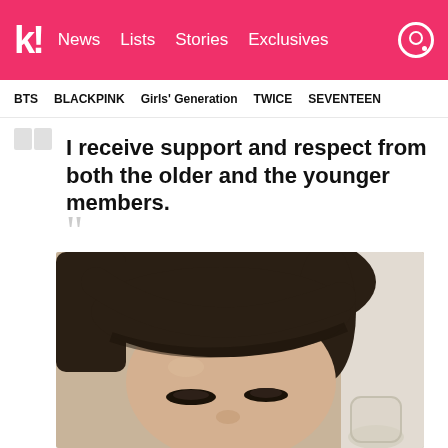k! News Lists Stories Exclusives
BTS BLACKPINK Girls' Generation TWICE SEVENTEEN
I receive support and respect from both the older and the younger members. —Jungwon
[Figure (photo): Close-up selfie photo of Jungwon, a young man with dark brown bowl-cut hair, looking at the camera.]